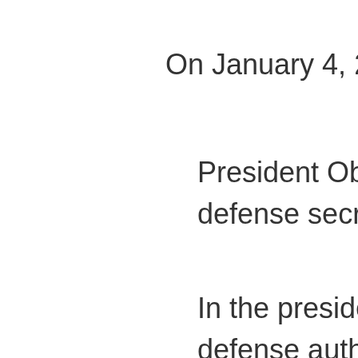On January 4, 2012, Bill Gertz re
President Obama signaled d defense secrets with Russia
In the president's signing sta defense authorization bill, M technical data on U.S. Stan on his constitutional foreign
As first disclosed in this spac Moscow with the SM-3 data doing so could compromise weapons technicians to cou